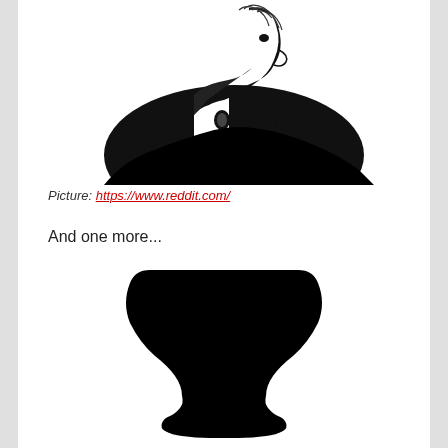[Figure (illustration): Black and white illustration of a person in profile view wearing a fur or feathered collar, with dramatic ink-style shading.]
Picture: https://www.reddit.com/
And one more...
[Figure (illustration): Black silhouette of a vase or goblet shape (Rubin's vase optical illusion) on white background.]